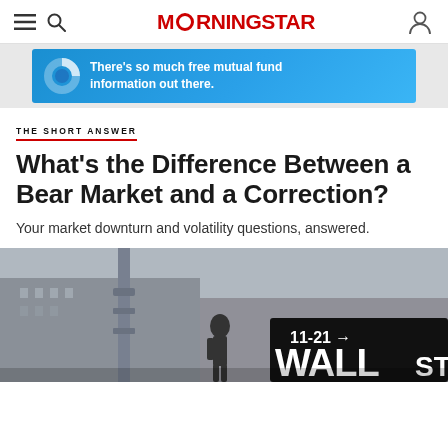MORNINGSTAR
[Figure (illustration): Morningstar advertisement banner with blue gradient background and text: There's so much free mutual fund information out there.]
THE SHORT ANSWER
What's the Difference Between a Bear Market and a Correction?
Your market downturn and volatility questions, answered.
[Figure (photo): Black and white photo of a Wall Street street sign showing 11-21 with arrow, and a person walking in the background near a building.]